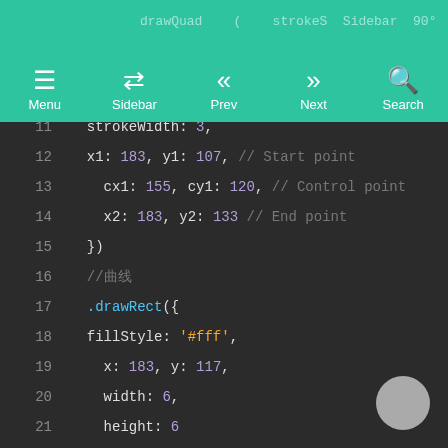Menu | Sidebar | Prev | Next | Search
[Figure (screenshot): Code editor showing JavaScript canvas drawing API calls including drawRect, drawEllipse, and drawQuadratic methods with syntax highlighting on dark background]
11  strokeWidth: 3,
12  x1: 183, y1: 107, // Start point
13    cx1: 155, cy1: 120, // Control point
14    x2: 183, y2: 133 // End point
15  })
16  //曲线
17  .drawRect({
18  fillStyle: '#fff',
19    x: 183, y: 117,
20    width: 6,
21    height: 6
22  })
23  //矩形
24  .drawEllipse({
25    fillStyle: '#da3b14',
26  
27    x: 120, y: 120,
28    width: 23, height: 23
29  })
30  //椭圆形
31  .drawQuadratic({